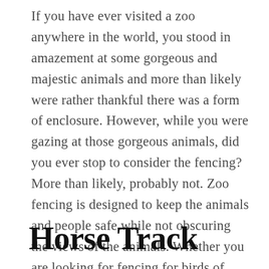If you have ever visited a zoo anywhere in the world, you stood in amazement at some gorgeous and majestic animals and more than likely were rather thankful there was a form of enclosure. However, while you were gazing at those gorgeous animals, did you ever stop to consider the fencing? More than likely, probably not. Zoo fencing is designed to keep the animals and people safe while not obscuring the views of the animals. Whether you are looking for fencing for birds of prey or big cats, there are fencing companies that specialize in this particular form of fencing.
Horse Track